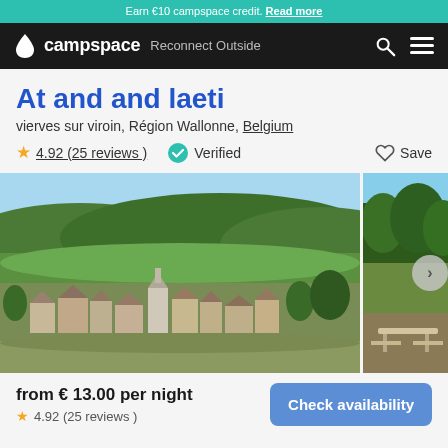Earn €10 campspace credit. Read more
campspace — Reconnect Outside
At and and laeti
vierves sur viroin, Région Wallonne, Belgium
4.92 (25 reviews) Verified Save
[Figure (photo): Aerial view of a small Belgian village with stone buildings, surrounded by green hills and forested landscape under a clear blue sky. A church spire is visible among the rooftops.]
[Figure (photo): Partial view of a green outdoor area with trees and what appears to be a picnic table, partially cropped.]
from € 13.00 per night
4.92 (25 reviews)
Check availability